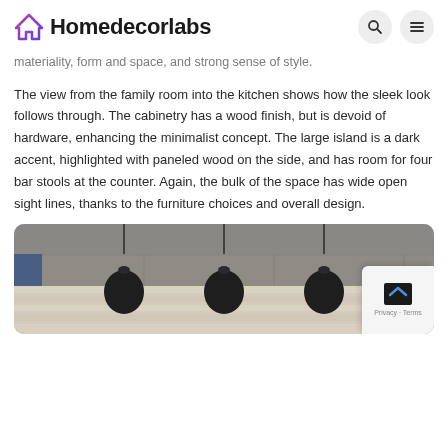Homedecorlabs
materiality, form and space, and strong sense of style.
The view from the family room into the kitchen shows how the sleek look follows through. The cabinetry has a wood finish, but is devoid of hardware, enhancing the minimalist concept. The large island is a dark accent, highlighted with paneled wood on the side, and has room for four bar stools at the counter. Again, the bulk of the space has wide open sight lines, thanks to the furniture choices and overall design.
[Figure (photo): Interior photo of a modern kitchen showing pendant lamps hanging from the ceiling and a light wood floor visible in the background. A reCAPTCHA/privacy widget is visible in the bottom-right corner.]